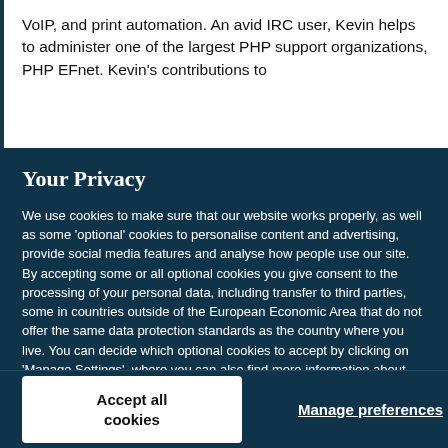VoIP, and print automation. An avid IRC user, Kevin helps to administer one of the largest PHP support organizations, PHP EFnet. Kevin's contributions to
Your Privacy
We use cookies to make sure that our website works properly, as well as some 'optional' cookies to personalise content and advertising, provide social media features and analyse how people use our site. By accepting some or all optional cookies you give consent to the processing of your personal data, including transfer to third parties, some in countries outside of the European Economic Area that do not offer the same data protection standards as the country where you live. You can decide which optional cookies to accept by clicking on 'Manage Settings', where you can also find more information about how your personal data is processed. Further information can be found in our privacy policy.
Accept all cookies
Manage preferences